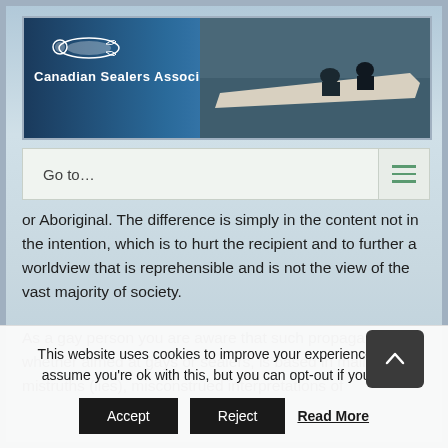[Figure (photo): Canadian Sealers Association header banner with logo, seal icon, text 'Canadian Sealers Association', and photo of two people in a boat on water/ice]
Go to...
or Aboriginal. The difference is simply in the content not in the intention, which is to hurt the recipient and to further a worldview that is reprehensible and is not the view of the vast majority of society.
As a gay person you are aware that such propaganda, whether aimed at gays or sealers, is based in malicious mistruths (lies), misconstrued interpretations of
This website uses cookies to improve your experience. We'll assume you're ok with this, but you can opt-out if you wish.
Accept   Reject   Read More